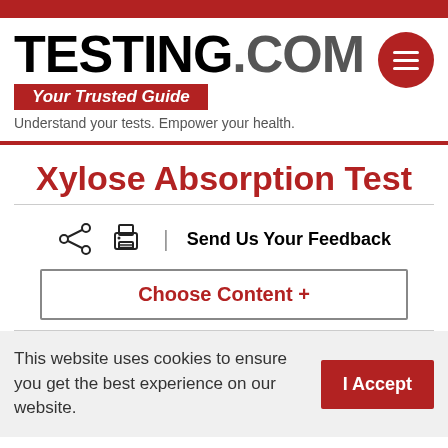TESTING.COM — Your Trusted Guide — Understand your tests. Empower your health.
Xylose Absorption Test
Send Us Your Feedback
Choose Content +
This website uses cookies to ensure you get the best experience on our website.
I Accept